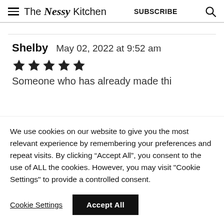The Nessy Kitchen  SUBSCRIBE
Shelby   May 02, 2022 at 9:52 am
★★★★★
We use cookies on our website to give you the most relevant experience by remembering your preferences and repeat visits. By clicking "Accept All", you consent to the use of ALL the cookies. However, you may visit "Cookie Settings" to provide a controlled consent.
Cookie Settings   Accept All